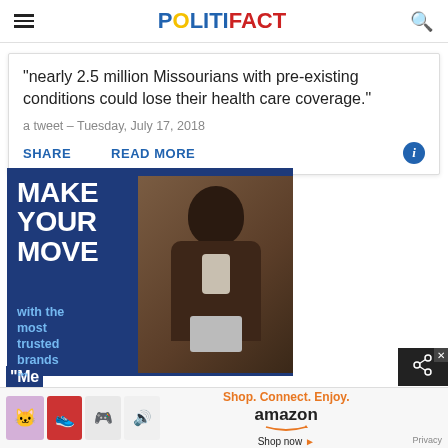POLITIFACT
"nearly 2.5 million Missourians with pre-existing conditions could lose their health care coverage."
a tweet – Tuesday, July 17, 2018
SHARE   READ MORE
[Figure (photo): Advertisement: MAKE YOUR MOVE with the most trusted brands in... — blue background with man looking at tablet]
[Figure (photo): Amazon advertisement strip: Shop. Connect. Enjoy. amazon Shop now with product images and Privacy label]